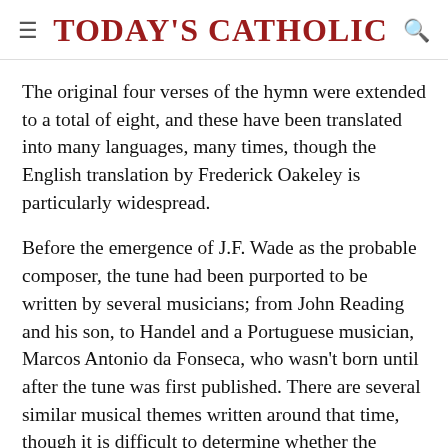Today's Catholic
The original four verses of the hymn were extended to a total of eight, and these have been translated into many languages, many times, though the English translation by Frederick Oakeley is particularly widespread.
Before the emergence of J.F. Wade as the probable composer, the tune had been purported to be written by several musicians; from John Reading and his son, to Handel and a Portuguese musician, Marcos Antonio da Fonseca, who wasn't born until after the tune was first published. There are several similar musical themes written around that time, though it is difficult to determine whether the composer written...